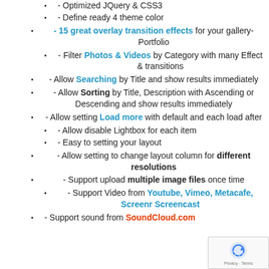- Optimized JQuery & CSS3
- Define ready 4 theme color
- 15 great overlay transition effects for your gallery-Portfolio
- Filter Photos & Videos by Category with many Effect & transitions
- Allow Searching by Title and show results immediately
- Allow Sorting by Title, Description with Ascending or Descending and show results immediately
- Allow setting Load more with default and each load after
- Allow disable Lightbox for each item
- Easy to setting your layout
- Allow setting to change layout column for different resolutions
- Support upload multiple image files once time
- Support Video from Youtube, Vimeo, Metacafe, Screenr Screencast
- Support sound from SoundCloud.com